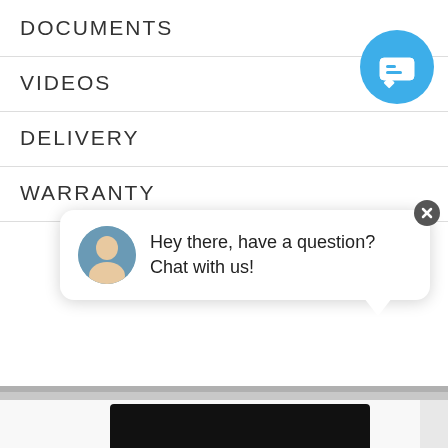DOCUMENTS
VIDEOS
DELIVERY
WARRANTY
[Figure (screenshot): Blue circular chat button with speech bubble icon in top right corner]
Hey there, have a question? Chat with us!
[Figure (photo): Close-up photo of a hand touching the display panel of a white dishwasher or washing machine, showing a black touchscreen with timer settings including 'Start at', 'Finish at' (showing 14:56), and a green OK button]